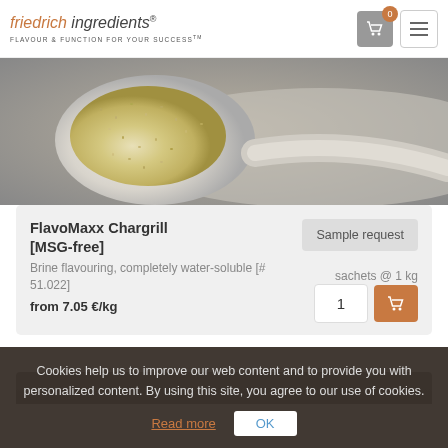friedrich ingredients® FLAVOUR & FUNCTION FOR YOUR SUCCESS™
[Figure (photo): Close-up photo of grain/powder ingredient in a white ceramic spoon on grey background]
FlavoMaxx Chargrill [MSG-free]
Brine flavouring, completely water-soluble [# 51.022]
from 7.05 €/kg
sachets @ 1 kg
Cookies help us to improve our web content and to provide you with personalized content. By using this site, you agree to our use of cookies.
Read more
OK